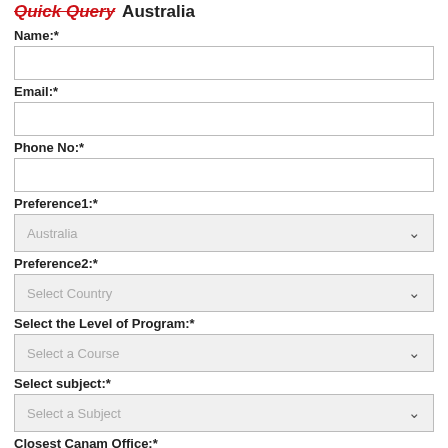Quick Query Australia
Name:*
Email:*
Phone No:*
Preference1:*
Australia (dropdown)
Preference2:*
Select Country (dropdown)
Select the Level of Program:*
Select a Course (dropdown)
Select subject:*
Select a Subject (dropdown)
Closest Canam Office:*
Select Location (dropdown)
By clicking Submit, you agree to our Terms and Conditions , including our Cookie Use.